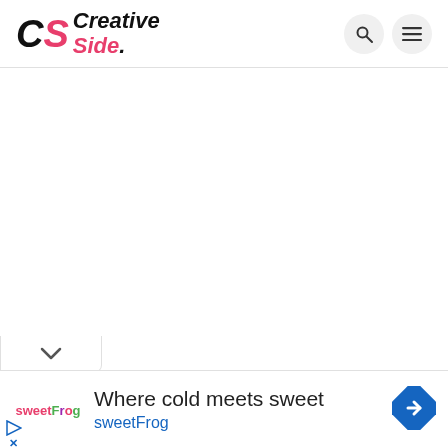CS Creative Side. [search icon] [menu icon]
[Figure (screenshot): White empty content area below the header navigation bar]
[Figure (other): Collapse/chevron tab at bottom-left with a down chevron icon]
[Figure (other): Advertisement banner: sweetFrog logo, text 'Where cold meets sweet', 'sweetFrog', and a blue diamond arrow icon on the right]